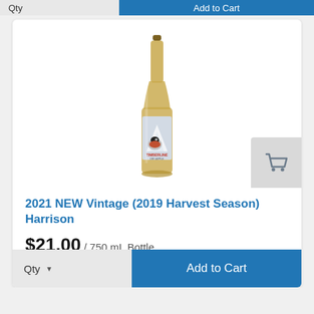[Figure (photo): A tall amber glass bottle with a colorful bird label reading TIMBERLINE, displayed upright on white background]
2021 NEW Vintage (2019 Harvest Season) Harrison
$21.00 / 750 mL Bottle
Qty  Add to Cart